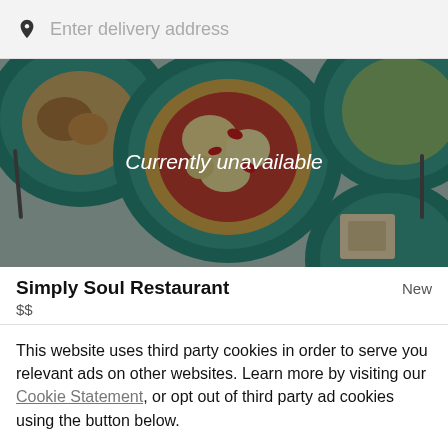Enter delivery address
[Figure (photo): Food delivery app hero image showing teal/turquoise plates with pizza and other dishes from an overhead view, with a dark overlay and the text 'Currently unavailable' centered.]
Simply Soul Restaurant
$$
New
This website uses third party cookies in order to serve you relevant ads on other websites. Learn more by visiting our Cookie Statement, or opt out of third party ad cookies using the button below.
OPT OUT
GOT IT